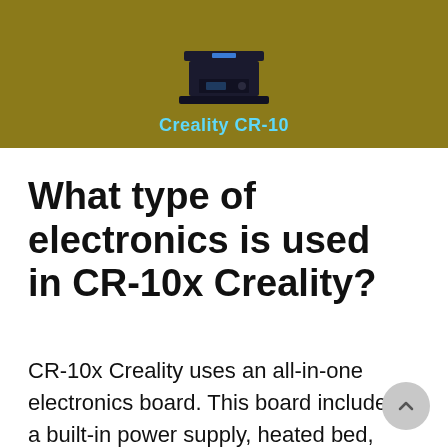[Figure (illustration): Creality CR-10 3D printer image on a dark gold/olive background with the label 'Creality CR-10' in cyan bold text below the printer silhouette.]
What type of electronics is used in CR-10x Creality?
CR-10x Creality uses an all-in-one electronics board. This board includes a built-in power supply, heated bed, and touchscreen control panel. This makes it easy to get your printer up and